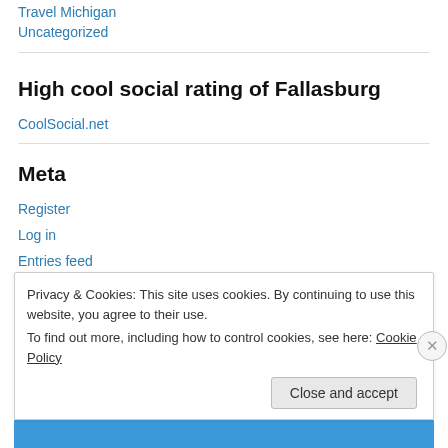Travel Michigan
Uncategorized
High cool social rating of Fallasburg
CoolSocial.net
Meta
Register
Log in
Entries feed
Privacy & Cookies: This site uses cookies. By continuing to use this website, you agree to their use.
To find out more, including how to control cookies, see here: Cookie Policy
Close and accept